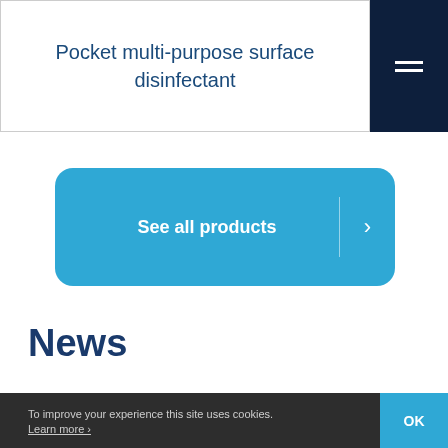Pocket multi-purpose surface disinfectant
[Figure (other): Dark navy hamburger/menu icon button in top right corner]
See all products ›
News
To improve your experience this site uses cookies. Learn more ›
OK